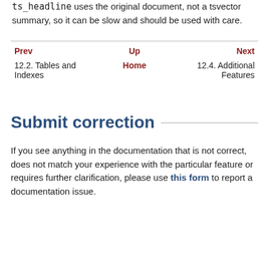ts_headline uses the original document, not a tsvector summary, so it can be slow and should be used with care.
| Prev | Up | Next |
| --- | --- | --- |
| 12.2. Tables and Indexes | Home | 12.4. Additional Features |
Submit correction
If you see anything in the documentation that is not correct, does not match your experience with the particular feature or requires further clarification, please use this form to report a documentation issue.